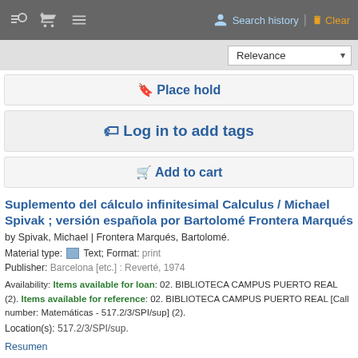Search history | Clear
Relevance
Place hold
Log in to add tags
Add to cart
Suplemento del cálculo infinitesimal Calculus / Michael Spivak ; versión española por Bartolomé Frontera Marqués
by Spivak, Michael | Frontera Marqués, Bartolomé.
Material type: Text; Format: print
Publisher: Barcelona [etc.] : Reverté, 1974
Availability: Items available for loan: 02. BIBLIOTECA CAMPUS PUERTO REAL (2). Items available for reference: 02. BIBLIOTECA CAMPUS PUERTO REAL [Call number: Matemáticas - 517.2/3/SPI/sup] (2).
Location(s): 517.2/3/SPI/sup.
Resumen